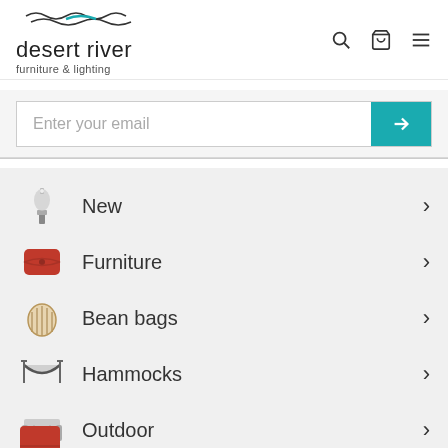[Figure (logo): Desert River furniture & lighting logo with wave/river graphic above text]
[Figure (infographic): Navigation icons: search magnifier, shopping cart, hamburger menu]
Enter your email
New
Furniture
Bean bags
Hammocks
Outdoor
Lighting